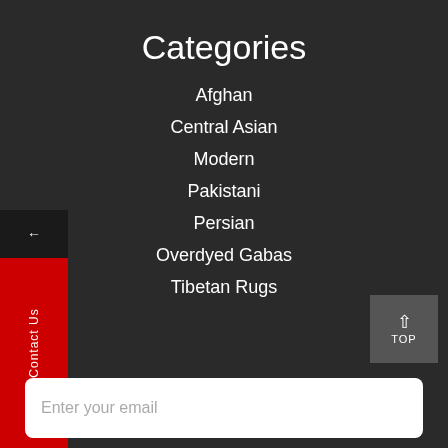Categories
Afghan
Central Asian
Modern
Pakistani
Persian
Overdyed Gabas
Tibetan Rugs
Enter your email